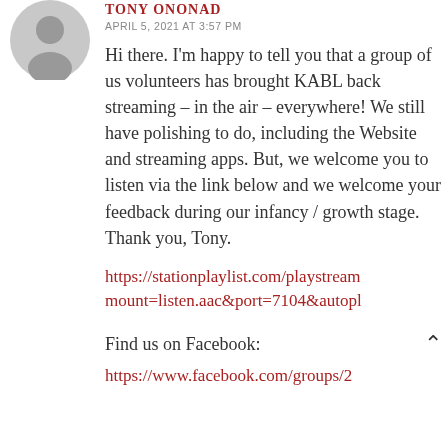[Figure (illustration): Gray circular avatar placeholder icon with a generic person silhouette]
TONY ONONAD
APRIL 5, 2021 AT 3:57 PM
Hi there. I'm happy to tell you that a group of us volunteers has brought KABL back streaming – in the air – everywhere! We still have polishing to do, including the Website and streaming apps. But, we welcome you to listen via the link below and we welcome your feedback during our infancy / growth stage. Thank you, Tony.
https://stationplaylist.com/playstream mount=listen.aac&port=7104&autopl
Find us on Facebook:
https://www.facebook.com/groups/2